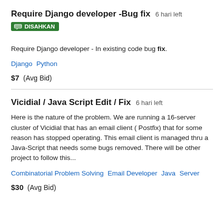Require Django developer -Bug fix  6 hari left
DISAHKAN
Require Django developer - In existing code bug fix.
Django  Python
$7  (Avg Bid)
Vicidial / Java Script Edit / Fix  6 hari left
Here is the nature of the problem. We are running a 16-server cluster of Vicidial that has an email client ( Postfix) that for some reason has stopped operating. This email client is managed thru a Java-Script that needs some bugs removed. There will be other project to follow this...
Combinatorial Problem Solving  Email Developer  Java  Server
$30  (Avg Bid)